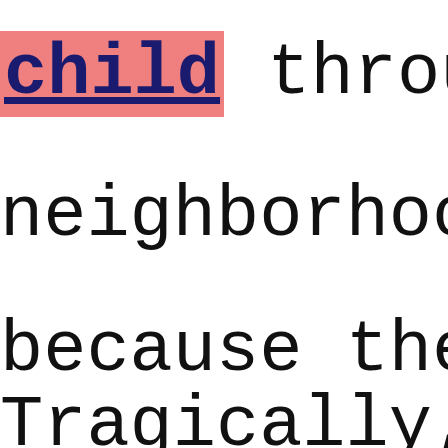child through
neighborhood g
because they l
Tragically, An